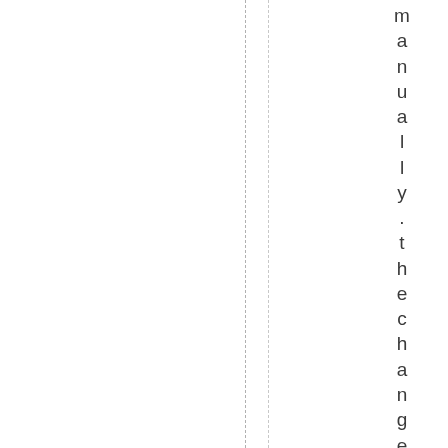manually. the changes will not be ac